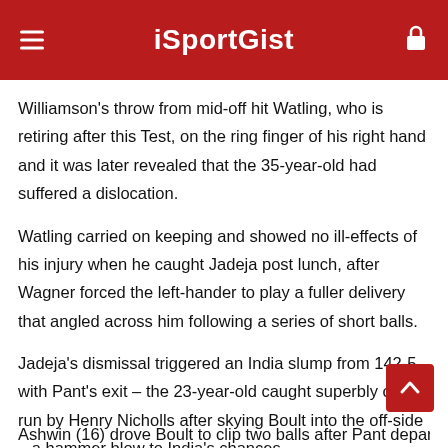iSportGist
Williamson's throw from mid-off hit Watling, who is retiring after this Test, on the ring finger of his right hand and it was later revealed that the 35-year-old had suffered a dislocation.
Watling carried on keeping and showed no ill-effects of his injury when he caught Jadeja post lunch, after Wagner forced the left-hander to play a fuller delivery that angled across him following a series of short balls.
Jadeja's dismissal triggered an India slump from 142-5, with Pant's exit – the 23-year-old caught superbly on the run by Henry Nicholls after skying Boult into the off-side – a hammer blow to India's chances.
Ashwin (16) drove Boult to clip two balls after Pant departed